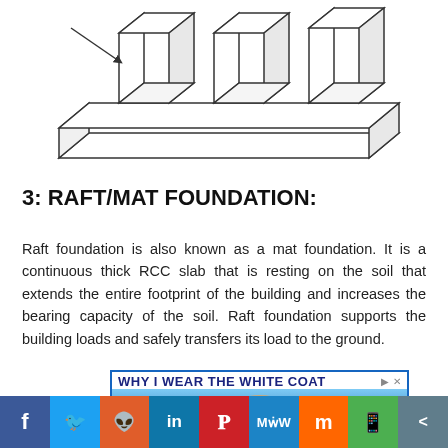[Figure (engineering-diagram): 3D isometric line drawing of a raft/mat foundation showing a flat rectangular concrete slab with multiple rectangular column stubs (piers) rising from the top surface, illustrating how columns rest on the continuous slab foundation.]
3: RAFT/MAT FOUNDATION:
Raft foundation is also known as a mat foundation. It is a continuous thick RCC slab that is resting on the soil that extends the entire footprint of the building and increases the bearing capacity of the soil. Raft foundation supports the building loads and safely transfers its load to the ground.
[Figure (screenshot): Advertisement banner: 'WHY I WEAR THE WHITE COAT' with a photo of a person and ad controls (play button and X).]
Social sharing bar: Facebook, Twitter, Reddit, LinkedIn, Pinterest, MeWe, Mix, WhatsApp, Share